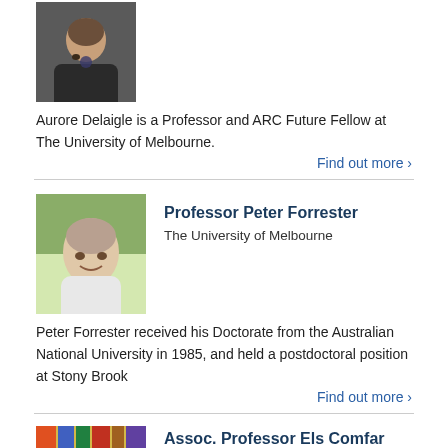[Figure (photo): Photo of Aurore Delaigle, a woman with long hair wearing a necklace]
Aurore Delaigle is a Professor and ARC Future Fellow at The University of Melbourne.
Find out more >
[Figure (photo): Photo of Professor Peter Forrester, a bald man in a white t-shirt outdoors]
Professor Peter Forrester
The University of Melbourne
Peter Forrester received his Doctorate from the Australian National University in 1985, and held a postdoctoral position at Stony Brook
Find out more >
[Figure (photo): Partial photo showing books/materials, bottom of page]